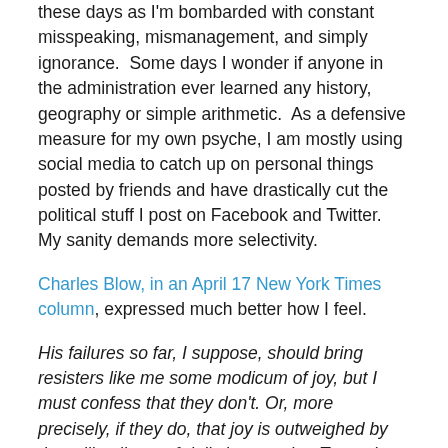these days as I'm bombarded with constant misspeaking, mismanagement, and simply ignorance.  Some days I wonder if anyone in the administration ever learned any history, geography or simple arithmetic.  As a defensive measure for my own psyche, I am mostly using social media to catch up on personal things posted by friends and have drastically cut the political stuff I post on Facebook and Twitter.  My sanity demands more selectivity.
Charles Blow, in an April 17 New York Times column, expressed much better how I feel.
His failures so far, I suppose, should bring resisters like me some modicum of joy, but I must confess that they don't. Or, more precisely, if they do, that joy is outweighed by the rolling litany of daily horrors that Trump has inflicted...